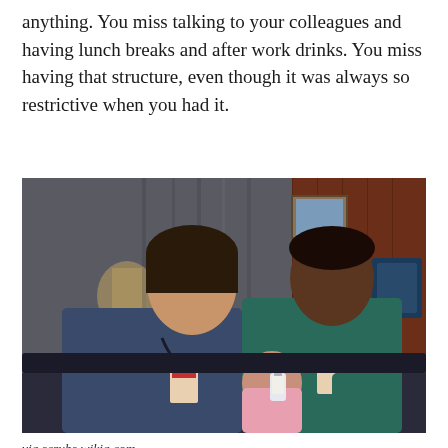anything. You miss talking to your colleagues and having lunch breaks and after work drinks. You miss having that structure, even though it was always so restrictive when you had it.
[Figure (photo): A still from the TV show Scrubs showing two male characters in medical scrubs sitting on a couch, with a baby between them drinking from a bottle.]
via scrubs.wikia.com